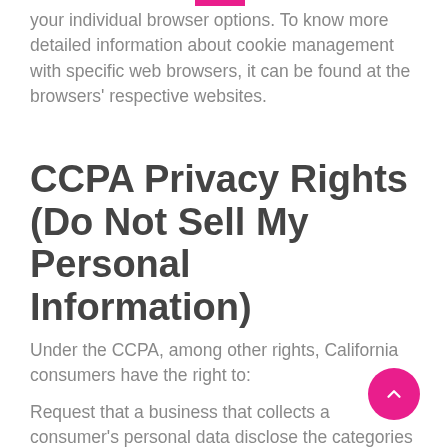your individual browser options. To know more detailed information about cookie management with specific web browsers, it can be found at the browsers' respective websites.
CCPA Privacy Rights (Do Not Sell My Personal Information)
Under the CCPA, among other rights, California consumers have the right to:
Request that a business that collects a consumer's personal data disclose the categories and specific pieces of personal data that a business has collected about